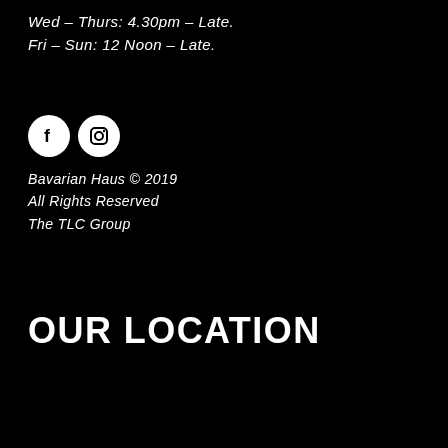Wed – Thurs: 4.30pm – Late.
Fri – Sun: 12 Noon – Late.
[Figure (illustration): Two white circular social media icons: Facebook (f) and Instagram (camera icon)]
Bavarian Haus © 2019
All Rights Reserved
The TLC Group
OUR LOCATION